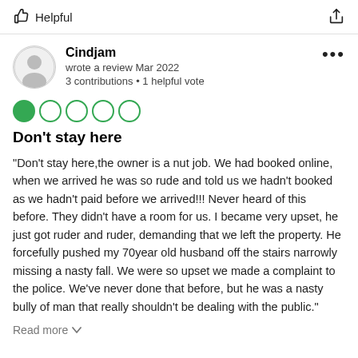Helpful
Cindjam
wrote a review Mar 2022
3 contributions • 1 helpful vote
[Figure (other): 1 out of 5 stars rating — one filled green circle followed by four empty green-outlined circles]
Don't stay here
“Don’t stay here,the owner is a nut job. We had booked online, when we arrived he was so rude and told us we hadn't booked as we hadn't paid before we arrived!!! Never heard of this before. They didn't have a room for us. I became very upset, he just got ruder and ruder, demanding that we left the property. He forcefully pushed my 70year old husband off the stairs narrowly missing a nasty fall. We were so upset we made a complaint to the police. We’ve never done that before, but he was a nasty bully of man that really shouldn’t be dealing with the public.”
Read more